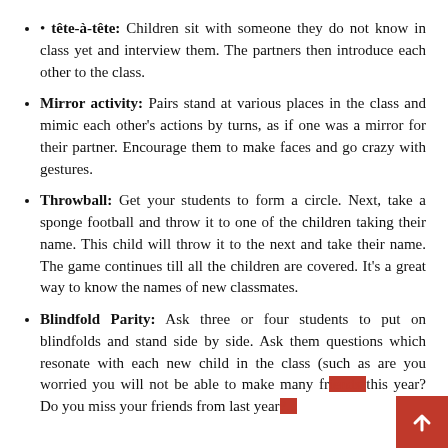• tête-à-tête: Children sit with someone they do not know in class yet and interview them. The partners then introduce each other to the class.
Mirror activity: Pairs stand at various places in the class and mimic each other's actions by turns, as if one was a mirror for their partner. Encourage them to make faces and go crazy with gestures.
Throwball: Get your students to form a circle. Next, take a sponge football and throw it to one of the children taking their name. This child will throw it to the next and take their name. The game continues till all the children are covered. It's a great way to know the names of new classmates.
Blindfold Parity: Ask three or four students to put on blindfolds and stand side by side. Ask them questions which resonate with each new child in the class (such as are you worried you will not be able to make many friends this year? Do you miss your friends from last year?...